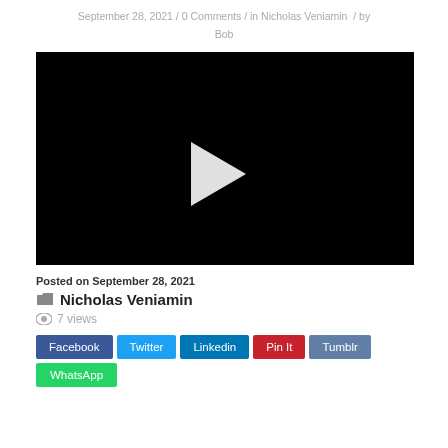September 28, 2021 / 0 Comments / in Nicholas Veniamin / by Bob
[Figure (screenshot): Black video player with a white play button triangle in the center]
Posted on September 28, 2021
Nicholas Veniamin
7 views
Facebook  Twitter  Linkedin  Pin It  Tumblr  WhatsApp